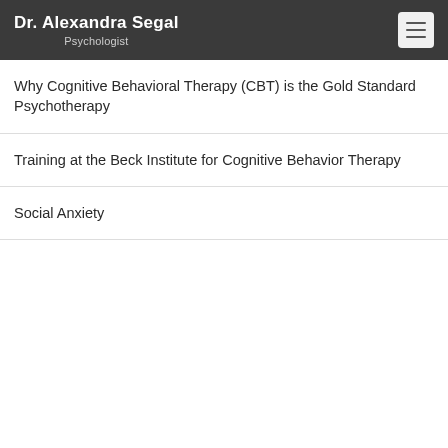Dr. Alexandra Segal
Psychologist
Why Cognitive Behavioral Therapy (CBT) is the Gold Standard Psychotherapy
Training at the Beck Institute for Cognitive Behavior Therapy
Social Anxiety